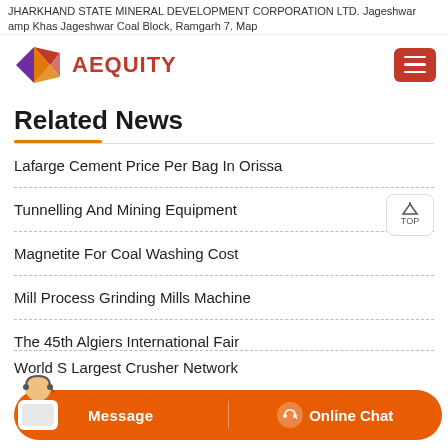JHARKHAND STATE MINERAL DEVELOPMENT CORPORATION LTD. Jageshwar amp Khas Jageshwar Coal Block, Ramgarh 7. Map
[Figure (logo): Aequity logo with geometric diamond/arrow shape in red, orange, purple and the text AEQUITY in red]
Related News
Lafarge Cement Price Per Bag In Orissa
Tunnelling And Mining Equipment
Magnetite For Coal Washing Cost
Mill Process Grinding Mills Machine
The 45th Algiers International Fair
World S Largest Crusher Network
[Figure (infographic): Orange chat bar at bottom with Message and Online Chat buttons, and customer service agent image]